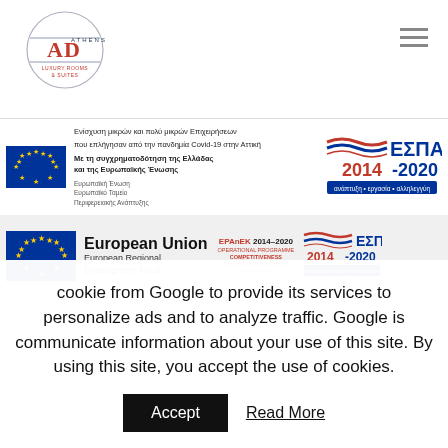[Figure (logo): AD Athens Luxury Rooms and Suites circular logo with blue and red text]
[Figure (logo): Hamburger/menu icon, three horizontal bars]
[Figure (logo): EU flag and ESPA 2014-2020 banner: Ενίσχυση μικρών και πολύ μικρών Επιχειρήσεων που επλήγησαν από την πανδημία Covid-19 στην Αττική. Με τη συγχρηματοδότηση της Ελλάδας και της Ευρωπαϊκής Ένωσης. Ευρωπαϊκή Ένωση Ευρωπαϊκό Ταμείο Περιφερειακής Ανάπτυξης. ΕΣΠΑ 2014-2020 ανάπτυξη εργασία αλληλεγγύη.]
[Figure (logo): European Union European Regional Development Fund logo, EPAnEK 2014-2020 Operational Programme Competitiveness Entrepreneurship Innovation, ΕΣΠΑ 2014-2020]
cookie from Google to provide its services to personalize ads and to analyze traffic. Google is communicate information about your use of this site. By using this site, you accept the use of cookies.
Accept
Read More